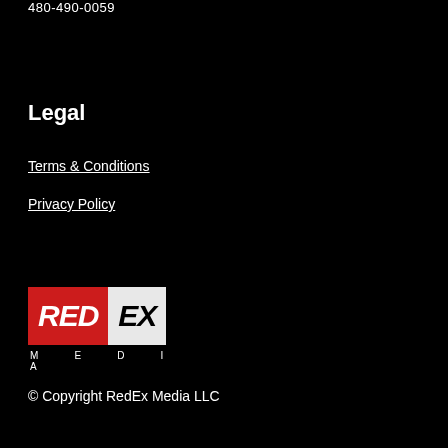480-490-0059
Legal
Terms & Conditions
Privacy Policy
[Figure (logo): RedEx Media logo with red background for RED and white background for EX, with MEDIA spelled out below in spaced letters]
© Copyright RedEx Media LLC